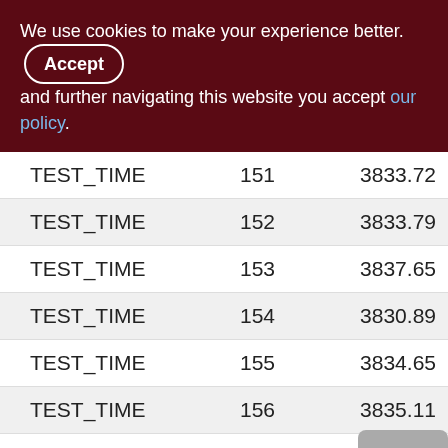We use cookies to make your experience better. By accepting and further navigating this website you accept our policy.
| TEST_TIME | 151 | 3833.72 |
| TEST_TIME | 152 | 3833.79 |
| TEST_TIME | 153 | 3837.65 |
| TEST_TIME | 154 | 3830.89 |
| TEST_TIME | 155 | 3834.65 |
| TEST_TIME | 156 | 3835.11 |
| TEST_TIME | 157 | 3829.12 |
| TEST_TIME | 158 | 3827.74 |
| TEST_TIME | 159 | 3825.54 |